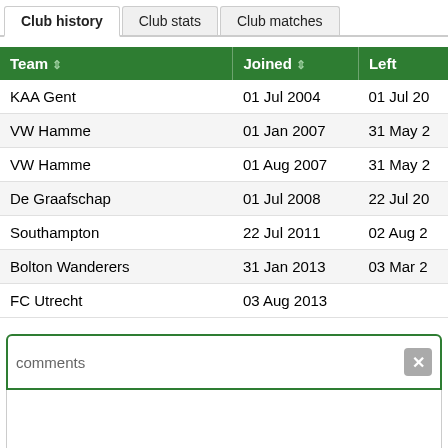| Team | Joined | Left |
| --- | --- | --- |
| KAA Gent | 01 Jul 2004 | 01 Jul 20… |
| VW Hamme | 01 Jan 2007 | 31 May 2… |
| VW Hamme | 01 Aug 2007 | 31 May 2… |
| De Graafschap | 01 Jul 2008 | 22 Jul 20… |
| Southampton | 22 Jul 2011 | 02 Aug 2… |
| Bolton Wanderers | 31 Jan 2013 | 03 Mar 2… |
| FC Utrecht | 03 Aug 2013 |  |
comments